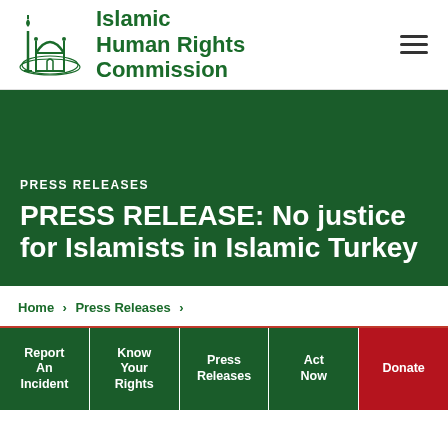[Figure (logo): Islamic Human Rights Commission logo: green stylized mosque and minaret with barbed wire, text 'Islamic Human Rights Commission' in dark green bold font]
Islamic Human Rights Commission
PRESS RELEASES
PRESS RELEASE: No justice for Islamists in Islamic Turkey
Home > Press Releases >
Report An Incident | Know Your Rights | Press Releases | Act Now | Donate